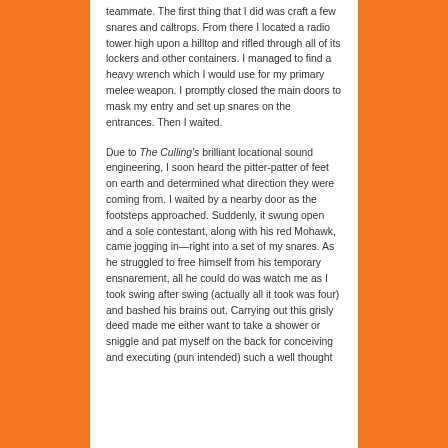teammate. The first thing that I did was craft a few snares and caltrops. From there I located a radio tower high upon a hilltop and rifled through all of its lockers and other containers. I managed to find a heavy wrench which I would use for my primary melee weapon. I promptly closed the main doors to mask my entry and set up snares on the entrances. Then I waited.
Due to The Culling's brilliant locational sound engineering, I soon heard the pitter-patter of feet on earth and determined what direction they were coming from. I waited by a nearby door as the footsteps approached. Suddenly, it swung open and a sole contestant, along with his red Mohawk, came jogging in—right into a set of my snares. As he struggled to free himself from his temporary ensnarement, all he could do was watch me as I took swing after swing (actually all it took was four) and bashed his brains out. Carrying out this grisly deed made me either want to take a shower or sniggle and pat myself on the back for conceiving and executing (pun intended) such a well thought